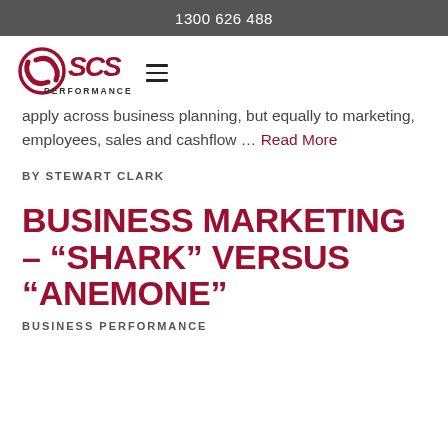1300 626 488
[Figure (logo): SCS Performance logo with circular swoosh design and stylized SCS letters, with PERFORMANCE text below]
apply across business planning, but equally to marketing, employees, sales and cashflow … Read More
BY STEWART CLARK
BUSINESS MARKETING – “SHARK” VERSUS “ANEMONE”
BUSINESS PERFORMANCE